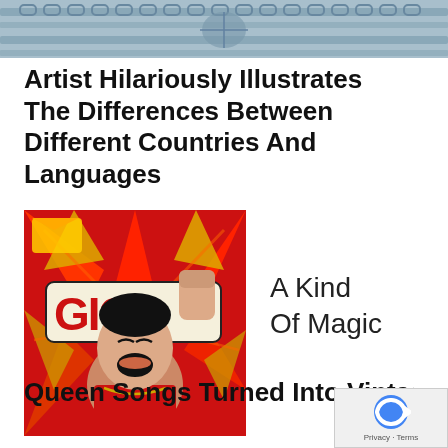[Figure (illustration): Top banner showing a comic-book style illustration with chain-link or mechanical elements in blue-grey tones]
Artist Hilariously Illustrates The Differences Between Different Countries And Languages
[Figure (illustration): Split image: left side shows a vintage comic book cover with Freddie Mercury screaming, red background, text reading 'GIC!' (part of MAGIC); right side shows plain white background with text 'A Kind Of Magic']
Queen Songs Turned Into Vintage Comic Book Covers By Butcher B